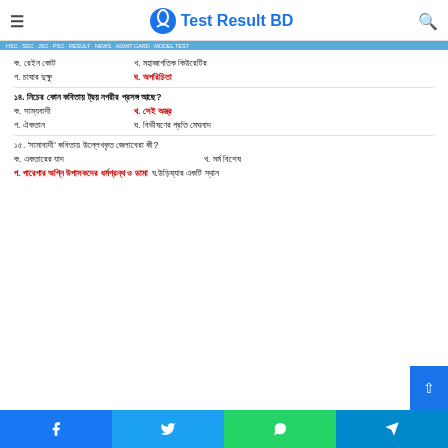Test Result BD
ক. রেইন কোট    খ. মহাজাগতিক কিউরেটির
গ. চাষার দুক্ষু    ঘ. অপরিচিতা
১৪. নিচের কোন কবিতায় ট্রয় নগরীর প্রসঙ্গ আছে?
ক. সাম্যবাদী    খ. সেই অস্ত্র
গ. ঐকতান    ঘ. বিভীষণের প্রতি মেঘনাদ
১৫. 'সামাবাদী' কবিতায় উল্লেখকৃত জেলাবেরা কী?
ক. একতারের যাদ    খ. মর্ম বিশেষ
গ. পারেগার অগ্নি উপাসকদের ধর্মগ্রন্থ ও ডামা    ঘ. উড়িষ্যার একটি স্থান
Facebook Twitter WhatsApp Telegram